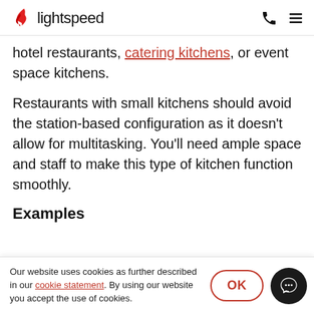lightspeed
hotel restaurants, catering kitchens, or event space kitchens.
Restaurants with small kitchens should avoid the station-based configuration as it doesn't allow for multitasking. You'll need ample space and staff to make this type of kitchen function smoothly.
Examples
Our website uses cookies as further described in our cookie statement. By using our website you accept the use of cookies.